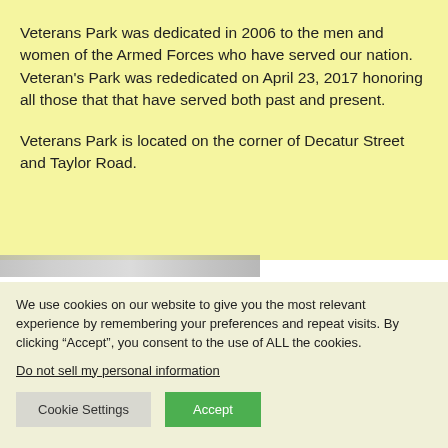Veterans Park was dedicated in 2006 to the men and women of the Armed Forces who have served our nation. Veteran's Park was rededicated on April 23, 2017 honoring all those that that have served both past and present.
Veterans Park is located on the corner of Decatur Street and Taylor Road.
[Figure (photo): Partially visible blurred/greyed image strip at the bottom of the main content area]
We use cookies on our website to give you the most relevant experience by remembering your preferences and repeat visits. By clicking “Accept”, you consent to the use of ALL the cookies.
Do not sell my personal information.